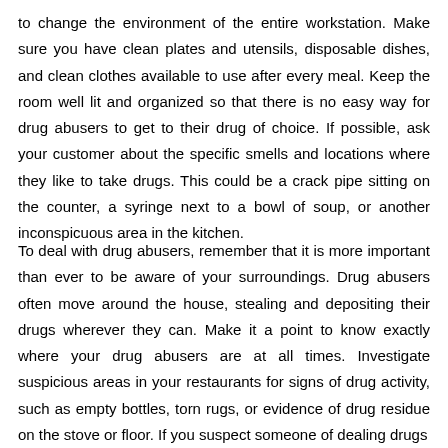to change the environment of the entire workstation. Make sure you have clean plates and utensils, disposable dishes, and clean clothes available to use after every meal. Keep the room well lit and organized so that there is no easy way for drug abusers to get to their drug of choice. If possible, ask your customer about the specific smells and locations where they like to take drugs. This could be a crack pipe sitting on the counter, a syringe next to a bowl of soup, or another inconspicuous area in the kitchen.
To deal with drug abusers, remember that it is more important than ever to be aware of your surroundings. Drug abusers often move around the house, stealing and depositing their drugs wherever they can. Make it a point to know exactly where your drug abusers are at all times. Investigate suspicious areas in your restaurants for signs of drug activity, such as empty bottles, torn rugs, or evidence of drug residue on the stove or floor. If you suspect someone of dealing drugs